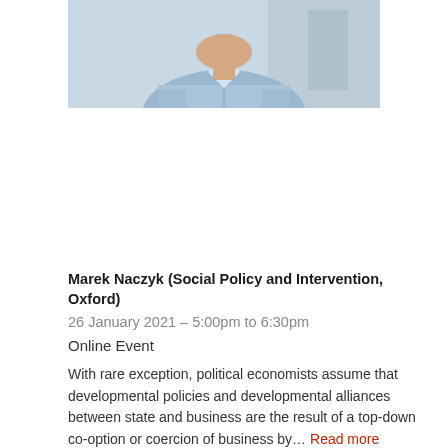[Figure (photo): Partial photo of a man wearing a light blue shirt, cropped to show shoulders and lower face/neck area only]
Marek Naczyk (Social Policy and Intervention, Oxford)
26 January 2021 – 5:00pm to 6:30pm
Online Event
With rare exception, political economists assume that developmental policies and developmental alliances between state and business are the result of a top-down co-option or coercion of business by… Read more